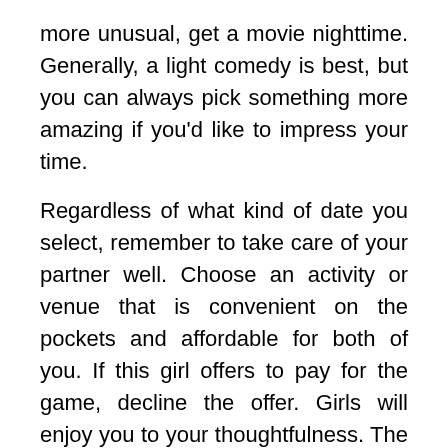more unusual, get a movie nighttime. Generally, a light comedy is best, but you can always pick something more amazing if you'd like to impress your time.
Regardless of what kind of date you select, remember to take care of your partner well. Choose an activity or venue that is convenient on the pockets and affordable for both of you. If this girl offers to pay for the game, decline the offer. Girls will enjoy you to your thoughtfulness. The first time frame is not really supposed to be perfect. You can always include a Plan T just in case a thing goes wrong. Any time all else breaks down, the day will still be pleasant and memorable.
Remember that earliest dates happen to be stressful